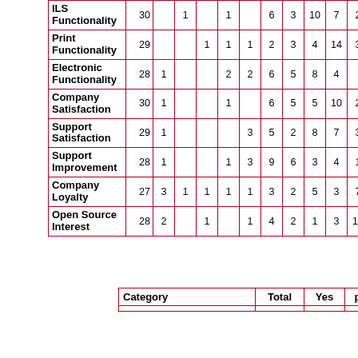| Category | Total | 1 | 1 | 1 | 1 | 1 | 1 | 1 | 1 | 1 | n | mean |
| --- | --- | --- | --- | --- | --- | --- | --- | --- | --- | --- | --- | --- |
| ILS Functionality | 30 | 1 | 1 | 6 | 3 | 10 | 7 | 2 | 7 | 6. |
| Print Functionality | 29 | 1 | 1 | 1 | 2 | 3 | 4 | 14 | 3 | 8 | 7. |
| Electronic Functionality | 28 | 1 | 2 | 2 | 6 | 5 | 8 | 4 | 7 | 5. |
| Company Satisfaction | 30 | 1 | 1 | 6 | 5 | 5 | 10 | 2 | 8 | 6. |
| Support Satisfaction | 29 | 1 | 3 | 5 | 2 | 8 | 7 | 3 | 7 | 6. |
| Support Improvement | 28 | 1 | 1 | 3 | 9 | 6 | 3 | 4 | 1 | 5 | 5. |
| Company Loyalty | 27 | 3 | 1 | 1 | 1 | 1 | 3 | 2 | 5 | 3 | 7 | 9 | 5. |
| Open Source Interest | 28 | 2 | 1 | 1 | 4 | 2 | 1 | 3 | 14 | 9 | 6. |
| Category | Total | Yes | percent |
| --- | --- | --- | --- |